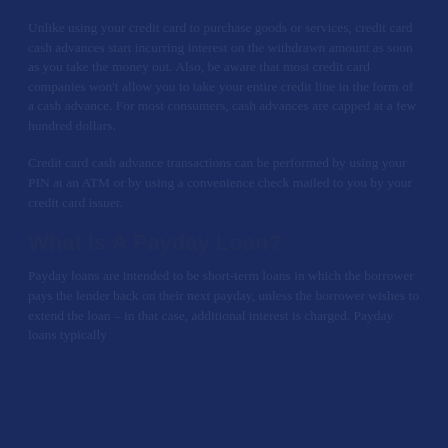Unlike using your credit card to purchase goods or services, credit card cash advances start incurring interest on the withdrawn amount as soon as you take the money out. Also, be aware that most credit card companies won't allow you to take your entire credit line in the form of a cash advance. For most consumers, cash advances are capped at a few hundred dollars.
Credit card cash advance transactions can be performed by using your PIN at an ATM or by using a convenience check mailed to you by your credit card issuer.
What Is A Payday Loan?
Payday loans are intended to be short-term loans in which the borrower pays the lender back on their next payday, unless the borrower wishes to extend the loan – in that case, additional interest is charged. Payday loans typically